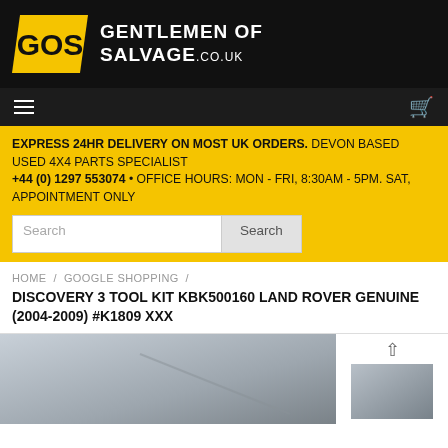[Figure (logo): GOS Gentlemen of Salvage logo — yellow parallelogram with GOS text, white GENTLEMEN OF SALVAGE.co.uk wordmark on black background]
EXPRESS 24HR DELIVERY ON MOST UK ORDERS. DEVON BASED USED 4X4 PARTS SPECIALIST +44 (0) 1297 553074 • OFFICE HOURS: MON - FRI, 8:30AM - 5PM. SAT, APPOINTMENT ONLY
Search
HOME / GOOGLE SHOPPING / DISCOVERY 3 TOOL KIT KBK500160 LAND ROVER GENUINE (2004-2009) #K1809 XXX
DISCOVERY 3 TOOL KIT KBK500160 LAND ROVER GENUINE (2004-2009) #K1809 XXX
[Figure (photo): Product photo of Discovery 3 tool kit, grey/silver background]